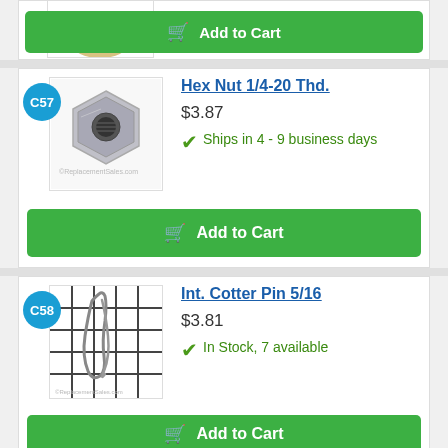[Figure (photo): Partial product image (brass/gold nut) at top of page, partially cut off]
Add to Cart
C57
[Figure (photo): Hex Nut 1/4-20 Thd. - silver zinc-plated hex nut on white background]
Hex Nut 1/4-20 Thd.
$3.87
Ships in 4 - 9 business days
Add to Cart
C58
[Figure (photo): Int. Cotter Pin 5/16 - wire cotter pin on grid background]
Int. Cotter Pin 5/16
$3.81
In Stock, 7 available
Add to Cart